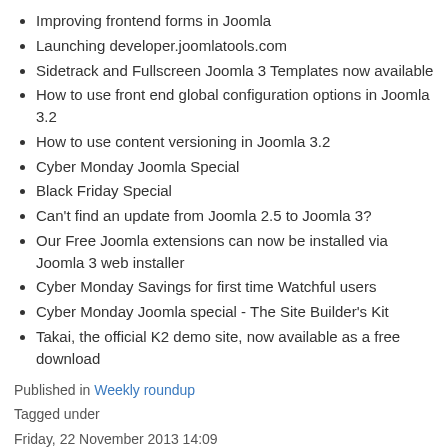Improving frontend forms in Joomla
Launching developer.joomlatools.com
Sidetrack and Fullscreen Joomla 3 Templates now available
How to use front end global configuration options in Joomla 3.2
How to use content versioning in Joomla 3.2
Cyber Monday Joomla Special
Black Friday Special
Can't find an update from Joomla 2.5 to Joomla 3?
Our Free Joomla extensions can now be installed via Joomla 3 web installer
Cyber Monday Savings for first time Watchful users
Cyber Monday Joomla special - The Site Builder's Kit
Takai, the official K2 demo site, now available as a free download
Published in Weekly roundup
Tagged under
Friday, 22 November 2013 14:09
Joomla blog posts from around the